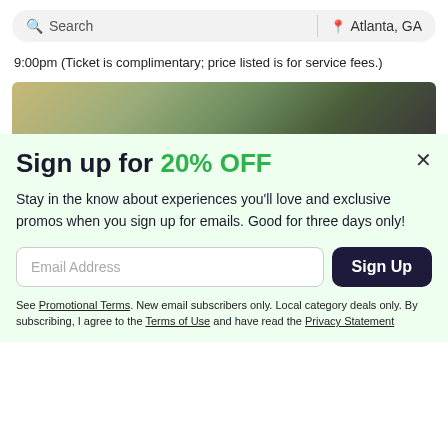Search | Atlanta, GA
9:00pm (Ticket is complimentary; price listed is for service fees.)
[Figure (photo): Photo strip of a person wearing a green jacket, partially visible, cropped at the bottom of the search results area.]
Sign up for 20% OFF
Stay in the know about experiences you'll love and exclusive promos when you sign up for emails. Good for three days only!
Email Address | Sign Up
See Promotional Terms. New email subscribers only. Local category deals only. By subscribing, I agree to the Terms of Use and have read the Privacy Statement